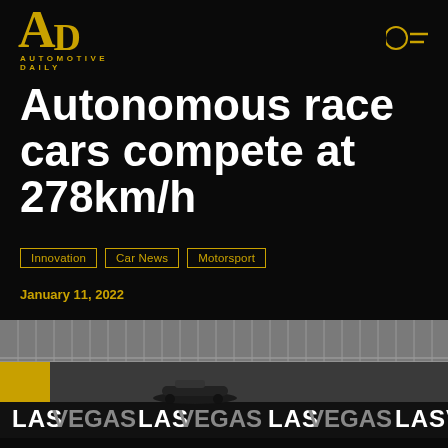Automotive Daily logo and navigation
Autonomous race cars compete at 278km/h
Innovation
Car News
Motorsport
January 11, 2022
Home › Innovation › Autonomous race cars compete...
[Figure (photo): A formula-style autonomous race car on a racetrack with LAS VEGAS advertising banners visible in the background.]